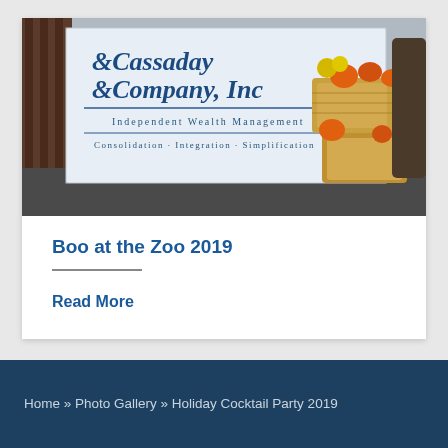[Figure (photo): Photo of a Cassaday & Company, Inc. banner sign reading 'Independent Wealth Management' and 'Consolidation · Integration · Simplification', with hay bales and pumpkins visible in the background, taken at an outdoor autumn event.]
Boo at the Zoo 2019
Read More
Home » Photo Gallery » Holiday Cocktail Party 2019